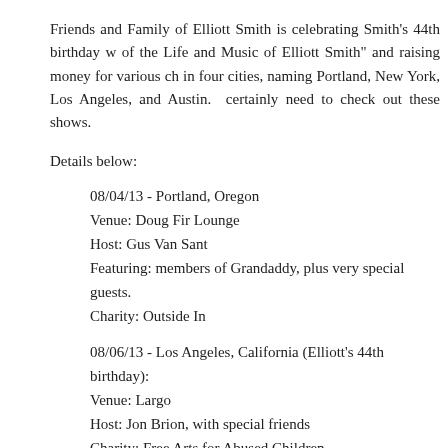Friends and Family of Elliott Smith is celebrating Smith's 44th birthday w of the Life and Music of Elliott Smith" and raising money for various ch in four cities, naming Portland, New York, Los Angeles, and Austin. certainly need to check out these shows.
Details below:
08/04/13 - Portland, Oregon
Venue: Doug Fir Lounge
Host: Gus Van Sant
Featuring: members of Grandaddy, plus very special guests.
Charity: Outside In
08/06/13 - Los Angeles, California (Elliott's 44th birthday):
Venue: Largo
Host: Jon Brion, with special friends
Charity: Free Arts for Abused Children
08/09/13 - Austin, Texas
Venue: Scottish Rite Theater
Host: Jody Denberg